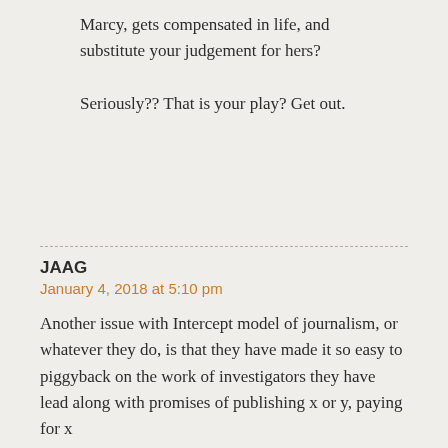Marcy, gets compensated in life, and substitute your judgement for hers?

Seriously?? That is your play? Get out.
JAAG
January 4, 2018 at 5:10 pm

Another issue with Intercept model of journalism, or whatever they do, is that they have made it so easy to piggyback on the work of investigators they have lead along with promises of publishing x or y, paying for x